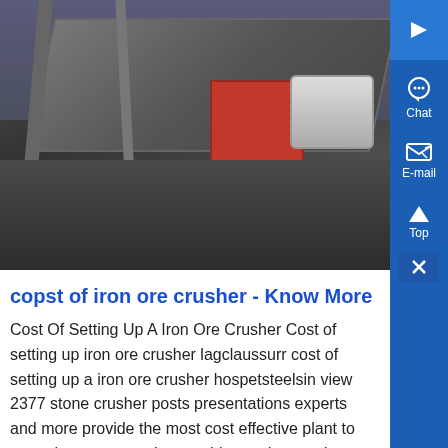[Figure (photo): Industrial iron ore crusher / stone crushing plant with conveyor belt, red crusher equipment, and white cylindrical machinery on a dark rocky hillside]
copst of iron ore crusher - Know More
Cost Of Setting Up A Iron Ore Crusher Cost of setting up iron ore crusher lagclaussurr cost of setting up a iron ore crusher hospetsteelsin view 2377 stone crusher posts presentations experts and more provide the most cost effective plant to meet the most exacting crushing and screening requirements up to 300 mpa this type of stone